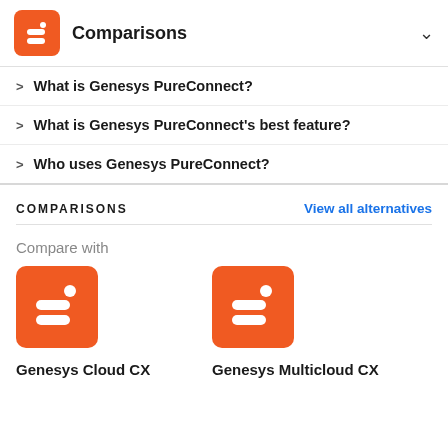Comparisons
What is Genesys PureConnect?
What is Genesys PureConnect's best feature?
Who uses Genesys PureConnect?
COMPARISONS
View all alternatives
Compare with
Genesys Cloud CX
Genesys Multicloud CX